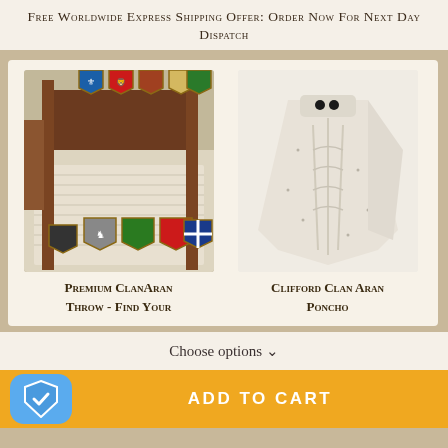Free Worldwide Express Shipping Offer: Order Now For Next Day Dispatch
[Figure (photo): Premium ClanAran Throw blanket on a bed with clan heraldry shields overlaid]
Premium ClanAran Throw - Find Your
[Figure (photo): Clifford Clan Aran Poncho knit garment on white background]
Clifford Clan Aran Poncho
Choose options ∨
ADD TO CART